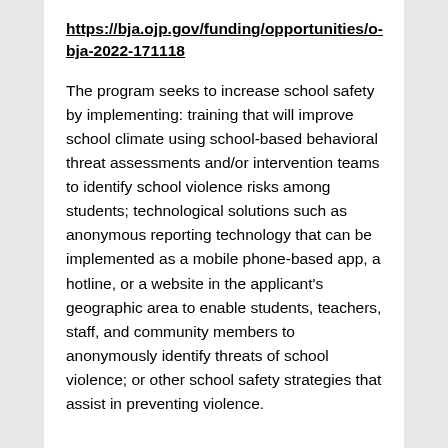https://bja.ojp.gov/funding/opportunities/o-bja-2022-171118
The program seeks to increase school safety by implementing: training that will improve school climate using school-based behavioral threat assessments and/or intervention teams to identify school violence risks among students; technological solutions such as anonymous reporting technology that can be implemented as a mobile phone-based app, a hotline, or a website in the applicant's geographic area to enable students, teachers, staff, and community members to anonymously identify threats of school violence; or other school safety strategies that assist in preventing violence.